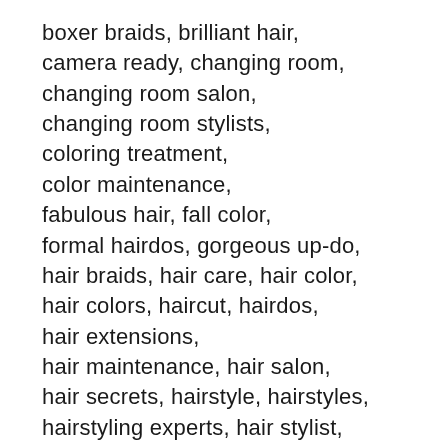boxer braids, brilliant hair, camera ready, changing room, changing room salon, changing room stylists, coloring treatment, color maintenance, fabulous hair, fall color, formal hairdos, gorgeous up-do, hair braids, hair care, hair color, hair colors, haircut, hairdos, hair extensions, hair maintenance, hair salon, hair secrets, hairstyle, hairstyles, hairstyling experts, hair stylist, hair tips, half tie-ups, heat styling, interlocked hairlocks, miami events, ocean drive magazine, oil treatment, ponytails, popular salons, salon, salons, shampooing techniques,